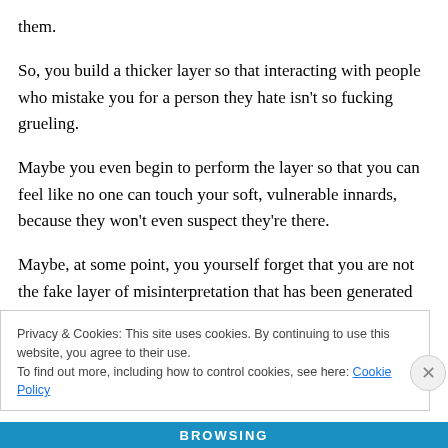them.
So, you build a thicker layer so that interacting with people who mistake you for a person they hate isn’t so fucking grueling.
Maybe you even begin to perform the layer so that you can feel like no one can touch your soft, vulnerable innards, because they won’t even suspect they’re there.
Maybe, at some point, you yourself forget that you are not the fake layer of misinterpretation that has been generated
Privacy & Cookies: This site uses cookies. By continuing to use this website, you agree to their use.
To find out more, including how to control cookies, see here: Cookie Policy
Close and accept